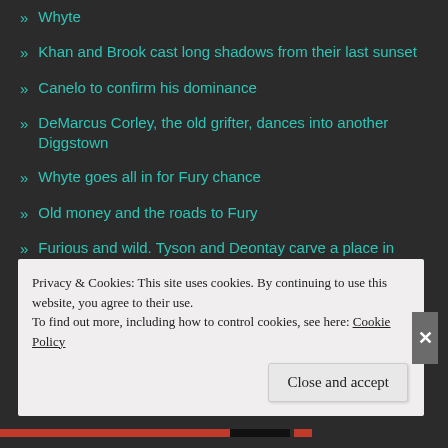Whyte
Khan and Brook cast long shadows from their last sunset
Canelo to confirm his dominance
DeMarcus Corley, the old grifter, dances into another Diggstown
Whyte goes all in for Fury chance
Old money and the roads to Fury
Furious and wild. Tyson and Deontay carve a place in heavyweight history
Cheeseman and the deal with the devil
Former British champion, David Price hangs them up
Fury, Wilder and the third act
Privacy & Cookies: This site uses cookies. By continuing to use this website, you agree to their use.
To find out more, including how to control cookies, see here: Cookie Policy